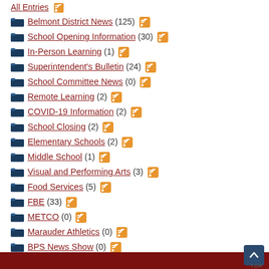All Entries
Belmont District News (125)
School Opening Information (30)
In-Person Learning (1)
Superintendent's Bulletin (24)
School Committee News (0)
Remote Learning (2)
COVID-19 Information (2)
School Closing (2)
Elementary Schools (2)
Middle School (1)
Visual and Performing Arts (3)
Food Services (5)
FBE (33)
METCO (0)
Marauder Athletics (0)
BPS News Show (0)
School Budget (1)
Community Events (6)